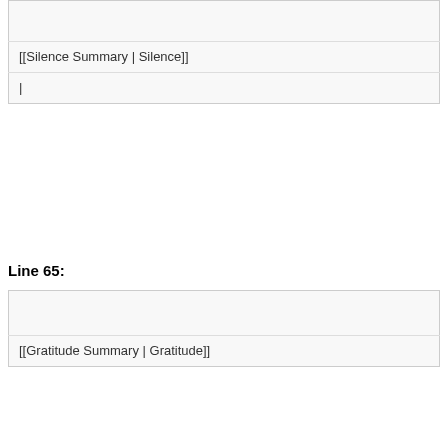|  |
| [[Silence Summary | Silence]] |
Line 65:
|  |
| [[Gratitude Summary | Gratitude]] |